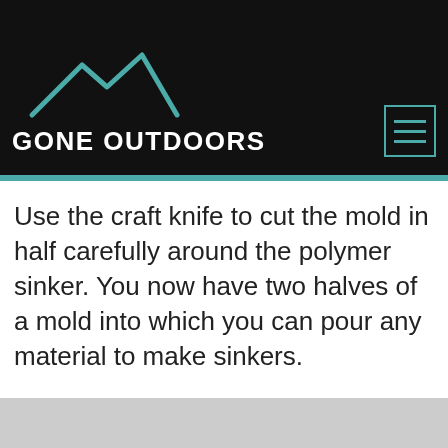GONE OUTDOORS
Use the craft knife to cut the mold in half carefully around the polymer sinker. You now have two halves of a mold into which you can pour any material to make sinkers.